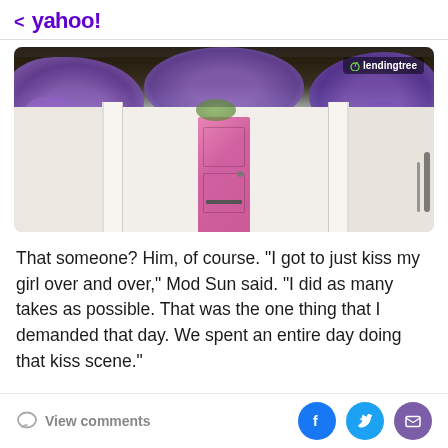< yahoo!
[Figure (photo): Photo of a white house with a pink front door, covered in hanging purple wisteria flowers. A lendingtree watermark appears in the top right corner.]
That someone? Him, of course. "I got to just kiss my girl over and over," Mod Sun said. "I did as many takes as possible. That was the one thing that I demanded that day. We spent an entire day doing that kiss scene."
View comments